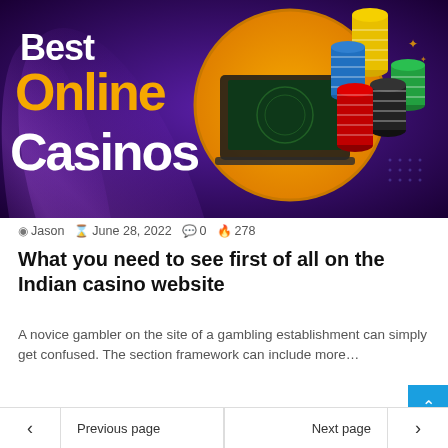[Figure (illustration): Banner image with dark purple background, large text reading 'Best Online Casinos' in white and orange/yellow bold fonts, alongside a laptop, roulette wheel, and colorful stacks of casino chips (red, blue, green, black, yellow).]
Jason  June 28, 2022  0  278
What you need to see first of all on the Indian casino website
A novice gambler on the site of a gambling establishment can simply get confused. The section framework can include more…
Read More »
< Previous page    Next page >